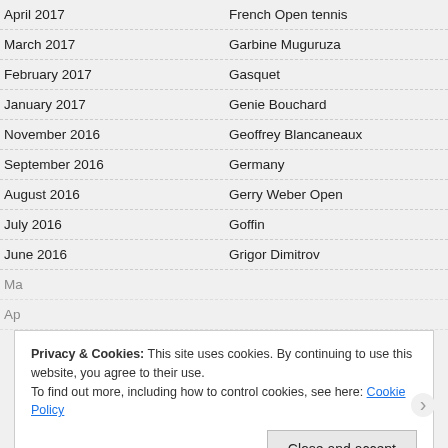| Date | Topic |
| --- | --- |
| April 2017 | French Open tennis |
| March 2017 | Garbine Muguruza |
| February 2017 | Gasquet |
| January 2017 | Genie Bouchard |
| November 2016 | Geoffrey Blancaneaux |
| September 2016 | Germany |
| August 2016 | Gerry Weber Open |
| July 2016 | Goffin |
| June 2016 | Grigor Dimitrov |
| Ma… |  |
| Ap… |  |
Privacy & Cookies: This site uses cookies. By continuing to use this website, you agree to their use.
To find out more, including how to control cookies, see here: Cookie Policy
Close and accept